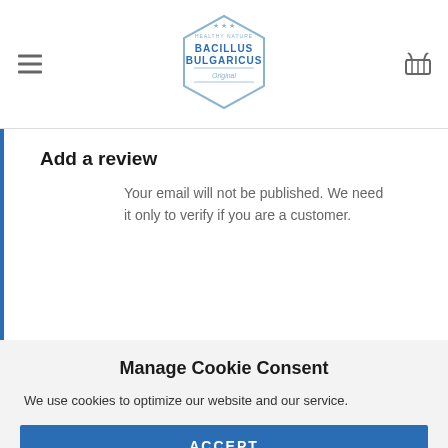[Figure (logo): Bacillus Bulgaricus hexagonal badge logo with stars and decorative text]
Add a review
Your email will not be published. We need it only to verify if you are a customer.
Manage Cookie Consent
We use cookies to optimize our website and our service.
ACCEPT
DENY
PREFERENCES